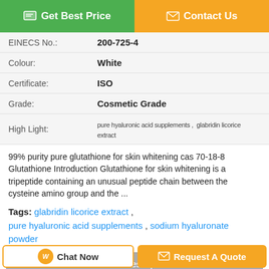Get Best Price | Contact Us
| EINECS No.: | 200-725-4 |
| Colour: | White |
| Certificate: | ISO |
| Grade: | Cosmetic Grade |
| High Light: | pure hyaluronic acid supplements , glabridin licorice extract |
99% purity pure glutathione for skin whitening cas 70-18-8 Glutathione Introduction Glutathione for skin whitening is a tripeptide containing an unusual peptide chain between the cysteine amino group and the ...
Tags: glabridin licorice extract , pure hyaluronic acid supplements , sodium hyaluronate powder
Product Description >
Get the Best Price for
99% purity pure glutathione for
Chat Now | Request A Quote